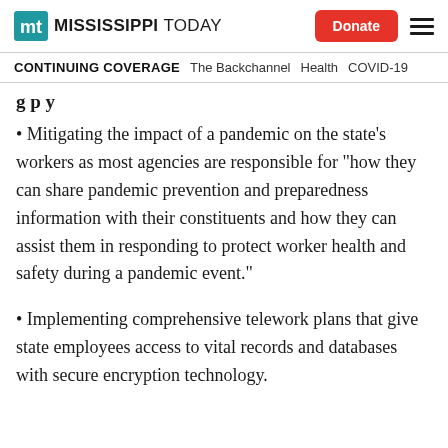MISSISSIPPI TODAY | Donate
CONTINUING COVERAGE   The Backchannel   Health   COVID-19
g p y
Mitigating the impact of a pandemic on the state’s workers as most agencies are responsible for “how they can share pandemic prevention and preparedness information with their constituents and how they can assist them in responding to protect worker health and safety during a pandemic event.”
Implementing comprehensive telework plans that give state employees access to vital records and databases with secure encryption technology.